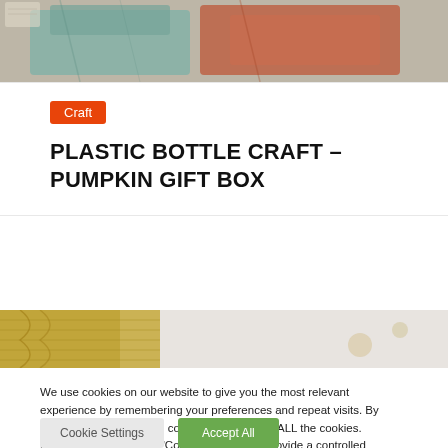[Figure (photo): Flat lay of folded clothing items including teal/green shirt and rust/orange garment on a light background]
Craft
PLASTIC BOTTLE CRAFT – PUMPKIN GIFT BOX
[Figure (photo): Close-up of knitted fabric items on a light background, golden/tan colored yarn]
We use cookies on our website to give you the most relevant experience by remembering your preferences and repeat visits. By clicking "Accept All", you consent to the use of ALL the cookies. However, you may visit "Cookie Settings" to provide a controlled consent.
Cookie Settings
Accept All